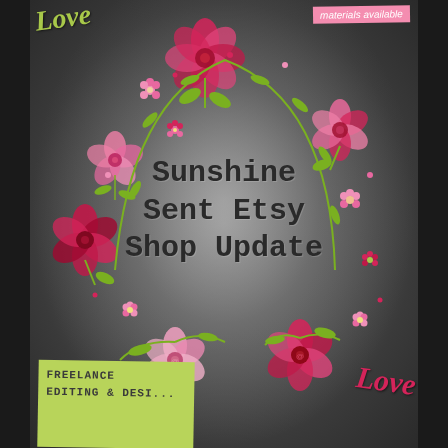[Figure (illustration): Decorative chalkboard background with floral wreath (pink and crimson roses, green leaves, small pink flowers) surrounding central text. Dark chalkboard with silver/white chalk dust glow in center.]
materials available
Love
Sunshine Sent Etsy Shop Update
Love
FREELANCE EDITING & DESI...